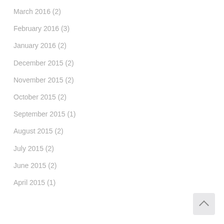March 2016 (2)
February 2016 (3)
January 2016 (2)
December 2015 (2)
November 2015 (2)
October 2015 (2)
September 2015 (1)
August 2015 (2)
July 2015 (2)
June 2015 (2)
April 2015 (1)